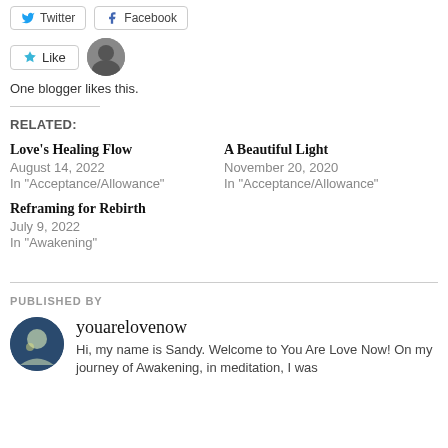[Figure (other): Twitter and Facebook share buttons]
[Figure (other): Like button with blogger avatar thumbnail]
One blogger likes this.
RELATED:
Love's Healing Flow
August 14, 2022
In "Acceptance/Allowance"
A Beautiful Light
November 20, 2020
In "Acceptance/Allowance"
Reframing for Rebirth
July 9, 2022
In "Awakening"
PUBLISHED BY
youarelovenow
Hi, my name is Sandy. Welcome to You Are Love Now! On my journey of Awakening, in meditation, I was